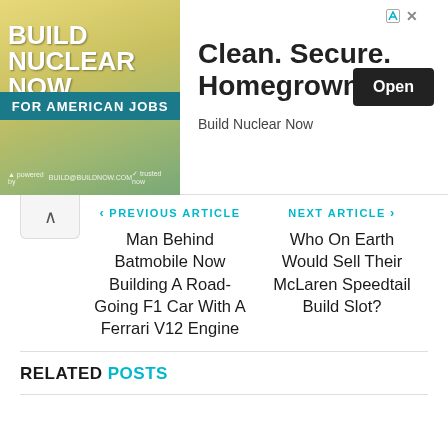[Figure (screenshot): Advertisement banner for 'Build Nuclear Now' campaign. Left side shows stylized text 'BUILD NUCLEAR NOW FOR AMERICAN JOBS' on a green/yellow gradient background. Right side shows text 'Clean. Secure. Homegrown.' with an 'Open' button and 'Build Nuclear Now' brand name.]
‹ PREVIOUS ARTICLE
Man Behind Batmobile Now Building A Road-Going F1 Car With A Ferrari V12 Engine
NEXT ARTICLE ›
Who On Earth Would Sell Their McLaren Speedtail Build Slot?
RELATED POSTS